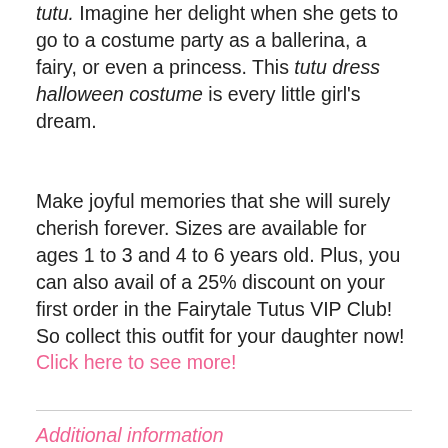tutu. Imagine her delight when she gets to go to a costume party as a ballerina, a fairy, or even a princess. This tutu dress halloween costume is every little girl's dream.
Make joyful memories that she will surely cherish forever. Sizes are available for ages 1 to 3 and 4 to 6 years old. Plus, you can also avail of a 25% discount on your first order in the Fairytale Tutus VIP Club! So collect this outfit for your daughter now! Click here to see more!
Additional information